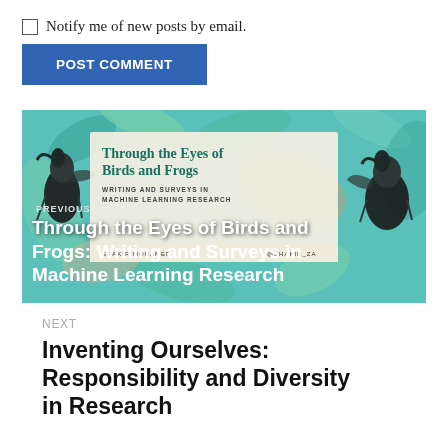Notify me of new posts by email.
POST COMMENT
[Figure (illustration): Decorative book cover image with tropical leaf background in teal/green/orange tones, featuring illustrated birds and a book titled 'Through the Eyes of Birds and Frogs: Writing and Surveys in Machine Learning Research' by Shakir Mohamed. Overlay text reads PREVIOUS and the title in bold white.]
NEXT
Inventing Ourselves: Responsibility and Diversity in Research